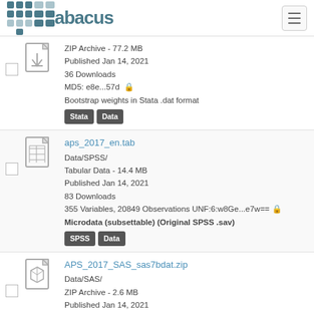[Figure (logo): Abacus logo with grid dots and text]
ZIP Archive - 77.2 MB
Published Jan 14, 2021
36 Downloads
MD5: e8e...57d
Bootstrap weights in Stata .dat format
[Stata] [Data]
aps_2017_en.tab
Data/SPSS/
Tabular Data - 14.4 MB
Published Jan 14, 2021
83 Downloads
355 Variables, 20849 Observations UNF:6:w8Ge...e7w==
Microdata (subsettable) (Original SPSS .sav)
[SPSS] [Data]
APS_2017_SAS_sas7bdat.zip
Data/SAS/
ZIP Archive - 2.6 MB
Published Jan 14, 2021
35 Downloads
MD5: 267...5b6
Microdata in SAS .sas7bdat format